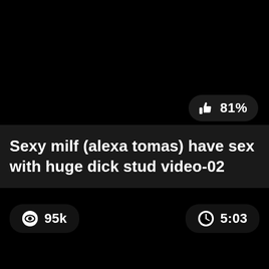[Figure (screenshot): Like/rating badge showing thumbs up icon and 81% rating]
Sexy milf (alexa tomas) have sex with huge dick stud video-02
95k views, 5:03 duration